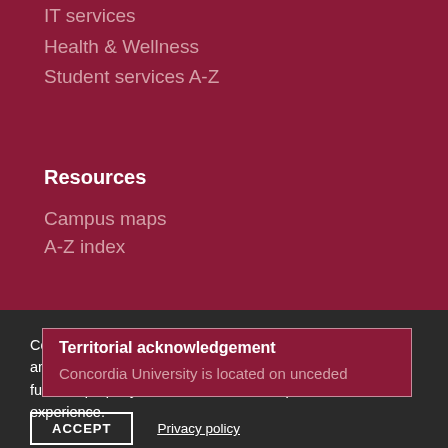IT services
Health & Wellness
Student services A-Z
Resources
Campus maps
A-Z index
Territorial acknowledgement
Concordia University is located on unceded
Concordia University uses technical, analytical, marketing and preference cookies. These are necessary for our site to function properly and to create the best possible online experience.
ACCEPT
Privacy policy